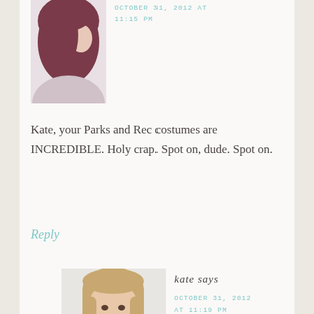[Figure (photo): Profile photo of commenter with dark reddish hair, partial view from behind/side, visible at top of page]
OCTOBER 31, 2012 AT 11:15 PM
Kate, your Parks and Rec costumes are INCREDIBLE. Holy crap. Spot on, dude. Spot on.
Reply
[Figure (photo): Profile photo of Kate, a woman with long blonde hair, smiling, wearing a blue top]
kate says
OCTOBER 31, 2012 AT 11:19 PM
Thanks Kristin, that made my day! :)